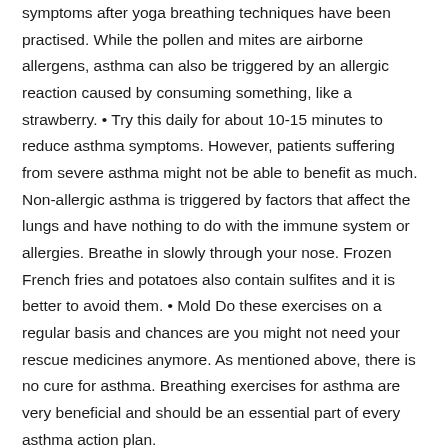symptoms after yoga breathing techniques have been practised. While the pollen and mites are airborne allergens, asthma can also be triggered by an allergic reaction caused by consuming something, like a strawberry. • Try this daily for about 10-15 minutes to reduce asthma symptoms. However, patients suffering from severe asthma might not be able to benefit as much. Non-allergic asthma is triggered by factors that affect the lungs and have nothing to do with the immune system or allergies. Breathe in slowly through your nose. Frozen French fries and potatoes also contain sulfites and it is better to avoid them. • Mold Do these exercises on a regular basis and chances are you might not need your rescue medicines anymore. As mentioned above, there is no cure for asthma. Breathing exercises for asthma are very beneficial and should be an essential part of every asthma action plan.